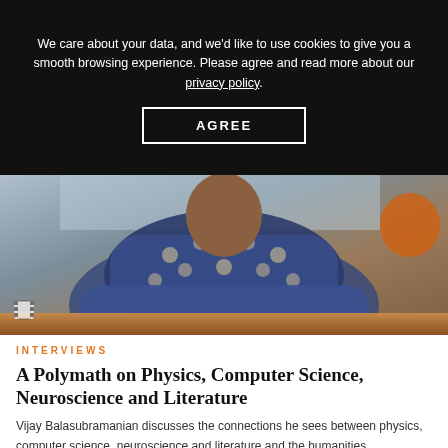We care about your data, and we'd like to use cookies to give you a smooth browsing experience. Please agree and read more about our privacy policy.
AGREE
[Figure (photo): Person wearing a blue and beige patterned cardigan sweater, sitting at a wooden table with arms crossed, viewed from chest level. A film strip icon is visible in the lower left corner of the image.]
INTERVIEWS
A Polymath on Physics, Computer Science, Neuroscience and Literature
Vijay Balasubramanian discusses the connections he sees between physics, computer science, neuroscience and literature and the humanities.